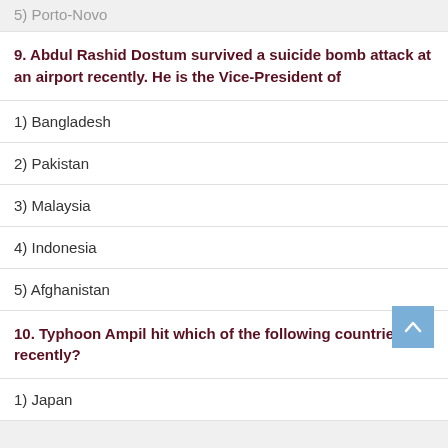5) Porto-Novo
9. Abdul Rashid Dostum survived a suicide bomb attack at an airport recently. He is the Vice-President of
1) Bangladesh
2) Pakistan
3) Malaysia
4) Indonesia
5) Afghanistan
10. Typhoon Ampil hit which of the following countries recently?
1) Japan